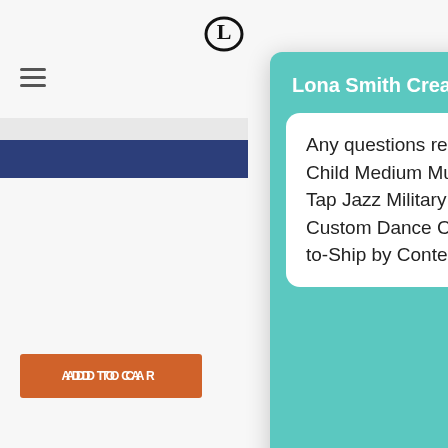[Figure (screenshot): Website page background showing hamburger menu icon, logo, blue navigation bar, orange Add to Cart button, and product page content]
[Figure (screenshot): WhatsApp chat popup overlay with teal background showing 'Lona Smith Creates: Hey There!' header, chat bubble with product question text, and green Whatsapp Us button]
Lona Smith Creates: Hey There!
Any questions related to GI Blues Child Medium Musical Theater Tap Jazz Military Army Style Custom Dance Costume Ready-to-Ship by ContenderWear?
Whatsapp Us
ADD TO CART
I want this
Categories: Clearance
Tags: Costume with ostrich, custom c... m jazz costume, custom tap costume, h... handmadecostume, Musical Theater Costume, Musical Theatre Costume
MESSAGE US HERE